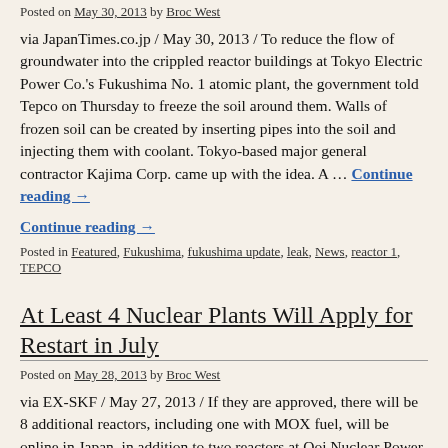Posted on May 30, 2013 by Broc West
via JapanTimes.co.jp / May 30, 2013 / To reduce the flow of groundwater into the crippled reactor buildings at Tokyo Electric Power Co.'s Fukushima No. 1 atomic plant, the government told Tepco on Thursday to freeze the soil around them. Walls of frozen soil can be created by inserting pipes into the soil and injecting them with coolant. Tokyo-based major general contractor Kajima Corp. came up with the idea. A … Continue reading →
Continue reading →
Posted in Featured, Fukushima, fukushima update, leak, News, reactor 1, TEPCO
At Least 4 Nuclear Plants Will Apply for Restart in July
Posted on May 28, 2013 by Broc West
via EX-SKF / May 27, 2013 / If they are approved, there will be 8 additional reactors, including one with MOX fuel, will be online in Japan, in addition to two reactors at Ooi Nuclear Power Plant. These plants are: Takahama Nuclear Power Plant (pictured): Reactor 3 (MOX), Reactor 4, operated by Kansai Electric Power